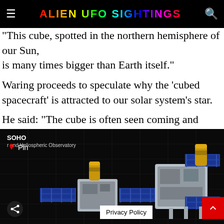ALIEN UFO SIGHTINGS
"This cube, spotted in the northern hemisphere of our Sun, is many times bigger than Earth itself."
Waring proceeds to speculate why the ‘cubed spacecraft’ is attracted to our solar system’s star.
He said: “The cube is often seen coming and going from our Sun.
[Figure (photo): SOHO Solar and Heliospheric Observatory 3D rendering of two satellite spacecraft models against a dark grid background. A Pin button overlay is visible. Share and Privacy Policy and scroll-to-top buttons appear at the bottom.]